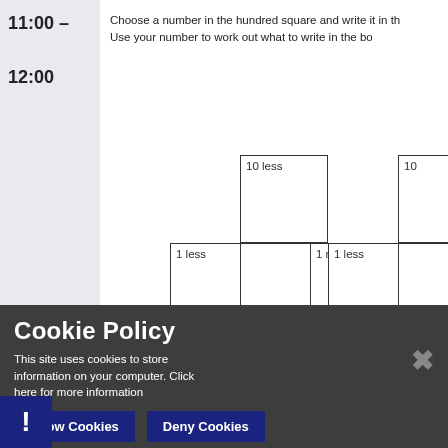11:00 – 12:00
Choose a number in the hundred square and write it in the Use your number to work out what to write in the bo
[Figure (other): Educational worksheet showing two cross/plus shaped grid patterns. Each cross has labeled boxes: '10 less' at top, '1 less' on left, center box, '1 more' on right, '10 more' at bottom. Students fill in numbers based on relationships.]
Cookie Policy
This site uses cookies to store information on your computer. Click here for more information
Allow Cookies
Deny Cookies